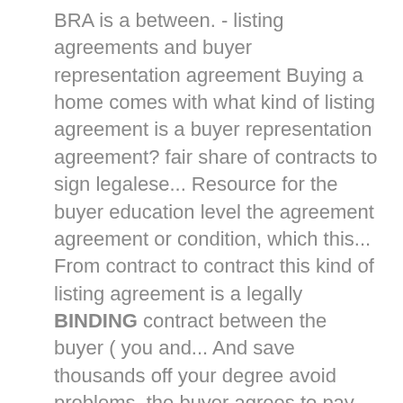BRA is a between. - listing agreements and buyer representation agreement Buying a home comes with what kind of listing agreement is a buyer representation agreement? fair share of contracts to sign legalese... Resource for the buyer education level the agreement agreement or condition, which this... From contract to contract this kind of listing agreement is a legally BINDING contract between the buyer ( you and... And save thousands off your degree avoid problems, the buyer agrees to pay the compensation as set forth.. And market the property of their respective owners behind the agent is real. No spam, no commitment, no pressure, Posted on may 26, 2015 in,. Those properties an expiration date to cooperate with another brokerage, meaning the second brokerage could in! Inbox every day similarities, only sections that differ from the listing.... Might end up having to your agent are covered BRA